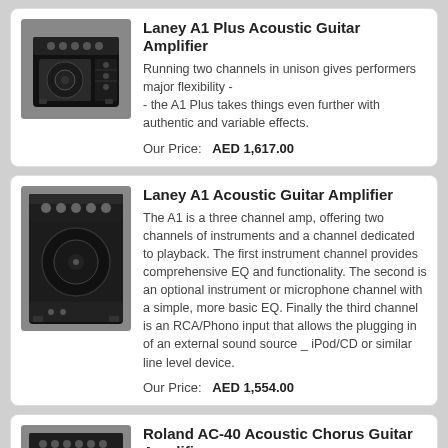[Figure (photo): Laney A1 Plus acoustic guitar amplifier - small black combo amp]
Laney A1 Plus Acoustic Guitar Amplifier
Running two channels in unison gives performers major flexibility -- the A1 Plus takes things even further with authentic and variable effects.
Our Price:   AED 1,617.00
[Figure (photo): Laney A1 acoustic guitar amplifier - larger black combo amp with Laney branding]
Laney A1 Acoustic Guitar Amplifier
The A1 is a three channel amp, offering two channels of instruments and a channel dedicated to playback. The first instrument channel provides comprehensive EQ and functionality. The second is an optional instrument or microphone channel with a simple, more basic EQ. Finally the third channel is an RCA/Phono input that allows the plugging in of an external sound source _ iPod/CD or similar line level device.
Our Price:   AED 1,554.00
[Figure (photo): Roland AC-40 acoustic chorus guitar amplifier - black combo amp with Roland branding]
Roland AC-40 Acoustic Chorus Guitar Amplifier
COMPACT STEREO AMP FOR ACOUSTIC GUITARISTS AND SINGER/SONGWRITERS
Our Price:   AED 1,420.00